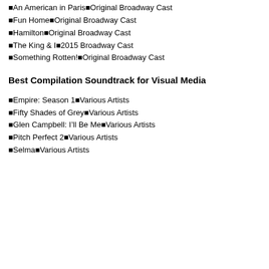■An American in Paris■Original Broadway Cast
■Fun Home■Original Broadway Cast
■Hamilton■Original Broadway Cast
■The King & I■2015 Broadway Cast
■Something Rotten!■Original Broadway Cast
Best Compilation Soundtrack for Visual Media
■Empire: Season 1■Various Artists
■Fifty Shades of Grey■Various Artists
■Glen Campbell: I’ll Be Me■Various Artists
■Pitch Perfect 2■Various Artists
■Selma■Various Artists